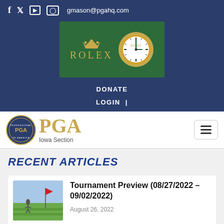f  twitter  youtube  instagram  gmason@pgahq.com
[Figure (logo): Rolex advertisement banner with green background, Rolex crown logo, ROLEX text in gold, and analog Rolex clock]
DONATE
LOGIN  |
[Figure (logo): PGA Iowa Section logo with circular seal and gold PGA letters]
RECENT ARTICLES
[Figure (photo): Small thumbnail photo of a golf course with a flag stick]
Tournament Preview (08/27/2022 – 09/02/2022)
August 26, 2022